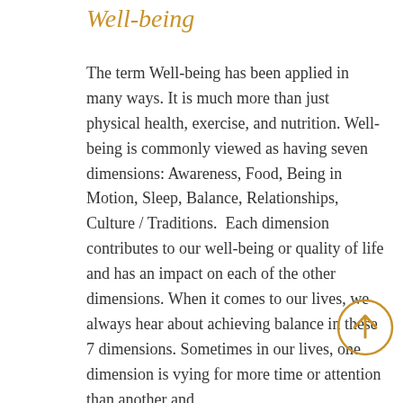Well-being
The term Well-being has been applied in many ways. It is much more than just physical health, exercise, and nutrition. Well-being is commonly viewed as having seven dimensions: Awareness, Food, Being in Motion, Sleep, Balance, Relationships, Culture / Traditions.  Each dimension contributes to our well-being or quality of life and has an impact on each of the other dimensions. When it comes to our lives, we always hear about achieving balance in these 7 dimensions. Sometimes in our lives, one dimension is vying for more time or attention than another and
[Figure (other): A circular up-arrow button with a golden/amber border and arrow icon]